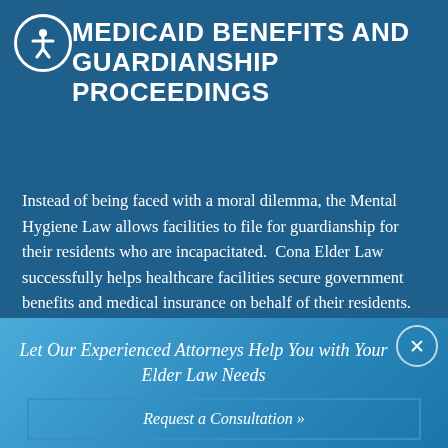MEDICAID BENEFITS AND GUARDIANSHIP PROCEEDINGS
Instead of being faced with a moral dilemma, the Mental Hygiene Law allows facilities to file for guardianship for their residents who are incapacitated.  Cona Elder Law successfully helps healthcare facilities secure government benefits and medical insurance on behalf of their residents.
Let Our Experienced Attorneys Help You with Your Elder Law Needs
Request a Consultation »